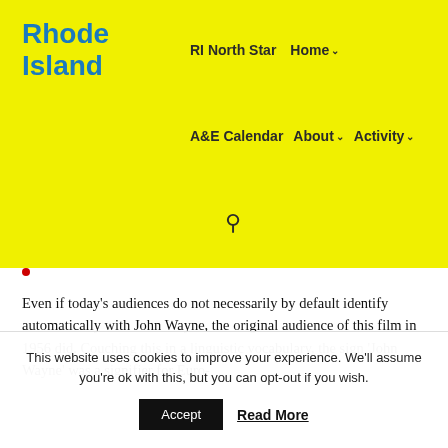Rhode Island
RI North Star   Home ∨
A&E Calendar   About ∨   Activity ∨
Even if today's audiences do not necessarily by default identify automatically with John Wayne, the original audience of this film in 1956 did. Couching this in a linguistic vocabulary, the sign 'John Wayne' was a signifier for Euro-
This website uses cookies to improve your experience. We'll assume you're ok with this, but you can opt-out if you wish. Accept  Read More